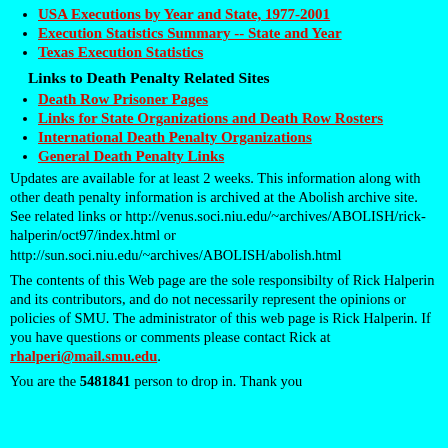USA Executions by Year and State, 1977-2001
Execution Statistics Summary -- State and Year
Texas Execution Statistics
Links to Death Penalty Related Sites
Death Row Prisoner Pages
Links for State Organizations and Death Row Rosters
International Death Penalty Organizations
General Death Penalty Links
Updates are available for at least 2 weeks. This information along with other death penalty information is archived at the Abolish archive site. See related links or http://venus.soci.niu.edu/~archives/ABOLISH/rick-halperin/oct97/index.html or http://sun.soci.niu.edu/~archives/ABOLISH/abolish.html
The contents of this Web page are the sole responsibilty of Rick Halperin and its contributors, and do not necessarily represent the opinions or policies of SMU. The administrator of this web page is Rick Halperin. If you have questions or comments please contact Rick at rhalperi@mail.smu.edu.
You are the 5481841 person to drop in. Thank you